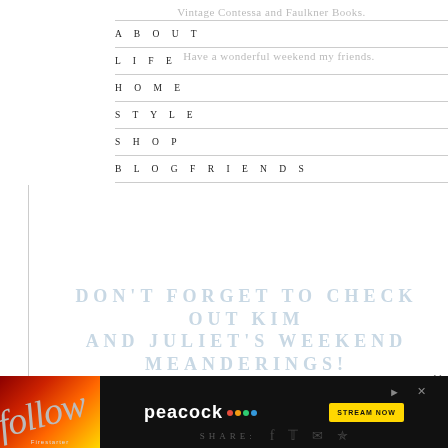Vintage Contessa and Faulkner Books.
ABOUT
Have a wonderful weekend my friends.
LIFE
HOME
STYLE
SHOP
BLOG FRIENDS
DON'T FORGET TO CHECK OUT KIM AND JULIET'S WEEKEND MEANDERINGS!
MAKE MINE A SPRITZER
NORTHERN CALIFORNIA STYLE
SHARE:
[Figure (other): Peacock streaming advertisement banner with Firestarter movie promotion]